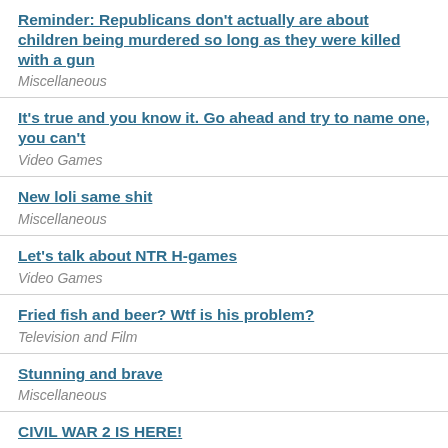Reminder: Republicans don't actually are about children being murdered so long as they were killed with a gun
Miscellaneous
It's true and you know it. Go ahead and try to name one, you can't
Video Games
New loli same shit
Miscellaneous
Let's talk about NTR H-games
Video Games
Fried fish and beer? Wtf is his problem?
Television and Film
Stunning and brave
Miscellaneous
CIVIL WAR 2 IS HERE!
Politics